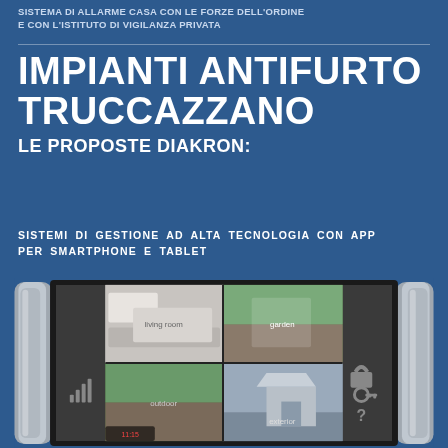SISTEMA DI ALLARME CASA CON LE FORZE DELL'ORDINE E CON L'ISTITUTO DI VIGILANZA PRIVATA
IMPIANTI ANTIFURTO TRUCCAZZANO
LE PROPOSTE DIAKRON:
SISTEMI DI GESTIONE AD ALTA TECNOLOGIA CON APP PER SMARTPHONE E TABLET
[Figure (photo): A security monitor/tablet device showing four camera feeds of home surveillance: living room interior, garden/pathway, outdoor garden area, and house exterior. The device has silver cylindrical sides and shows security icons including signal bars, lock, key, and question mark.]